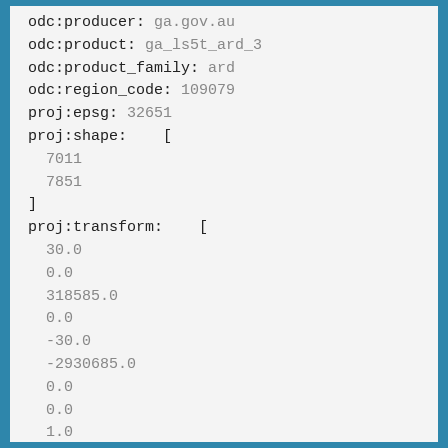odc:producer: ga.gov.au
odc:product: ga_ls5t_ard_3
odc:product_family: ard
odc:region_code: 109079
proj:epsg: 32651
proj:shape:    [
  7011
  7851
]
proj:transform:    [
  30.0
  0.0
  318585.0
  0.0
  -30.0
  -2930685.0
  0.0
  0.0
  1.0
]